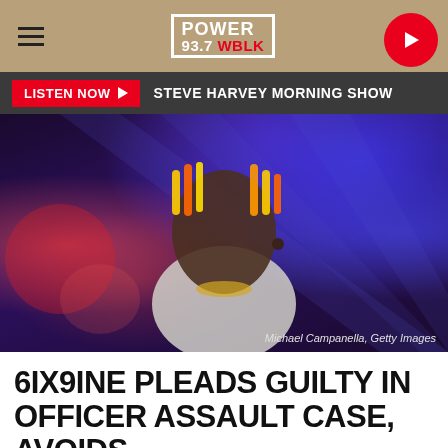POWER 93.7 WBLK
LISTEN NOW ▶  STEVE HARVEY MORNING SHOW
[Figure (photo): Concert photo of 6ix9ine (Tekashi69) performing on stage with blue and red stage lights, colorful braids and face tattoos visible, wearing a white t-shirt. Credit: Michael Campanella, Getty Images]
Michael Campanella, Getty Images
6IX9INE PLEADS GUILTY IN OFFICER ASSAULT CASE, AVOIDS